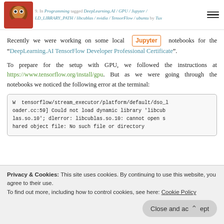In Programming tagged DeepLearning.AI / GPU / Jupyter / LD_LIBRARY_PATH / libcublas / nvidia / TensorFlow / ubuntu by Tux
Recently we were working on some local Jupyter notebooks for the "DeepLearning.AI TensorFlow Developer Professional Certificate".
To prepare for the setup with GPU, we followed the instructions at https://www.tensorflow.org/install/gpu. But as we were going through the notebooks we noticed the following error at the terminal:
W  tensorflow/stream_executor/platform/default/dso_loader.cc:59] Could not load dynamic library 'libcublas.so.10'; dlerror: libcublas.so.10: cannot open shared object file: No such file or directory
Privacy & Cookies: This site uses cookies. By continuing to use this website, you agree to their use. To find out more, including how to control cookies, see here: Cookie Policy